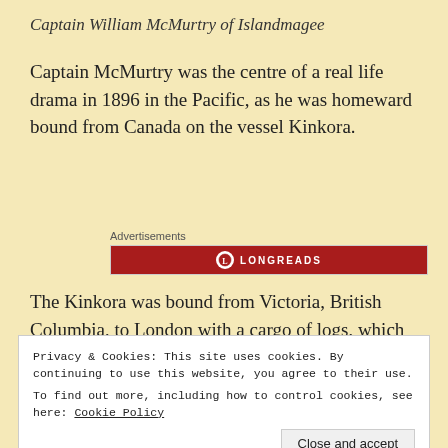Captain William McMurtry of Islandmagee
Captain McMurtry was the centre of a real life drama in 1896 in the Pacific, as he was homeward bound from Canada on the vessel Kinkora.
Advertisements
[Figure (logo): Longreads advertisement banner — red background with circular logo and LONGREADS text in white letters]
The Kinkora was bound from Victoria, British Columbia, to London with a cargo of logs, which were 110 feet long. The passage to Britain would
Privacy & Cookies: This site uses cookies. By continuing to use this website, you agree to their use.
To find out more, including how to control cookies, see here: Cookie Policy
Close and accept
McMurtry decided to head for the nearest land,